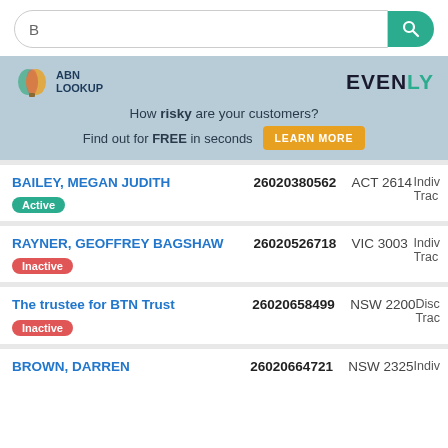[Figure (screenshot): Search bar with letter B and teal search button]
[Figure (logo): ABN Lookup logo with hot air balloon icon and EVENLY logo]
How risky are your customers? Find out for FREE in seconds LEARN MORE
| Name | ABN | Location | Type |
| --- | --- | --- | --- |
| BAILEY, MEGAN JUDITH [Active] | 26020380562 | ACT 2614 | Indiv Trac |
| RAYNER, GEOFFREY BAGSHAW [Inactive] | 26020526718 | VIC 3003 | Indiv Trac |
| The trustee for BTN Trust [Inactive] | 26020658499 | NSW 2200 | Disc Trac |
| BROWN, DARREN | 26020664721 | NSW 2325 | Indiv |